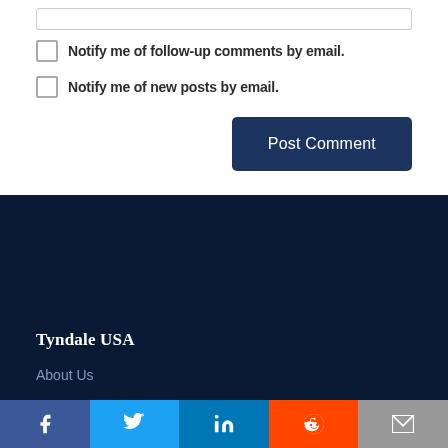Notify me of follow-up comments by email.
Notify me of new posts by email.
Post Comment
Tyndale USA
About Us
[Figure (other): Social media share bar with Facebook, Twitter, LinkedIn, Reddit, and Email icons]